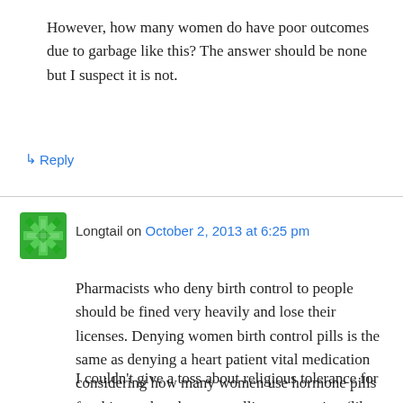However, how many women do have poor outcomes due to garbage like this? The answer should be none but I suspect it is not.
↳ Reply
Longtail on October 2, 2013 at 6:25 pm
Pharmacists who deny birth control to people should be fined very heavily and lose their licenses. Denying women birth control pills is the same as denying a heart patient vital medication considering how many women use hormone pills for things other than controlling conception (like me).
I couldn't give a toss about religious tolerance for